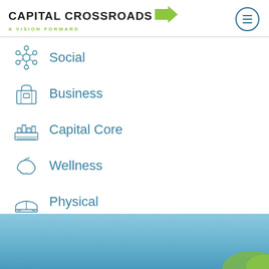[Figure (logo): Capital Crossroads logo with bold text and green arrow, subtitle 'A Vision Forward']
Social
Business
Capital Core
Wellness
Physical
Cultural
[Figure (photo): Blue sky photo strip at the bottom of the page with green foliage visible at bottom right]